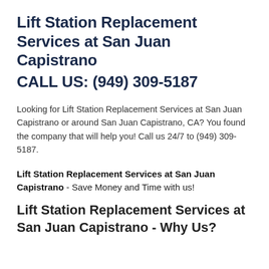Lift Station Replacement Services at San Juan Capistrano
CALL US: (949) 309-5187
Looking for Lift Station Replacement Services at San Juan Capistrano or around San Juan Capistrano, CA? You found the company that will help you! Call us 24/7 to (949) 309-5187.
Lift Station Replacement Services at San Juan Capistrano - Save Money and Time with us!
Lift Station Replacement Services at San Juan Capistrano - Why Us?